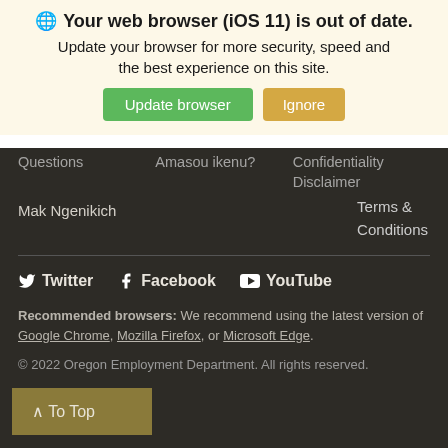[Figure (screenshot): Browser update notification banner with globe icon, title 'Your web browser (iOS 11) is out of date.', subtitle text, and two buttons: 'Update browser' (green) and 'Ignore' (tan/gold)]
Questions  Amasou ikenu?  Confidentiality Disclaimer
Mak Ngenikich
Terms & Conditions
Twitter  Facebook  YouTube
Recommended browsers: We recommend using the latest version of Google Chrome, Mozilla Firefox, or Microsoft Edge.
© 2022 Oregon Employment Department. All rights reserved.
^ To Top